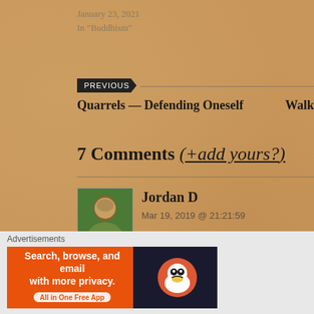January 23, 2021
In "Buddhism"
PREVIOUS
Quarrels — Defending Oneself
Walk
7 Comments (+add yours?)
Jordan D
Mar 19, 2019 @ 21:21:59
Thank you so much for this write-up! I have been looking the Dhammapada and this is perfect. I look forward t
Advertisements
[Figure (screenshot): DuckDuckGo advertisement banner: orange left section with text 'Search, browse, and email with more privacy. All in One Free App' and dark right section with DuckDuckGo duck logo]